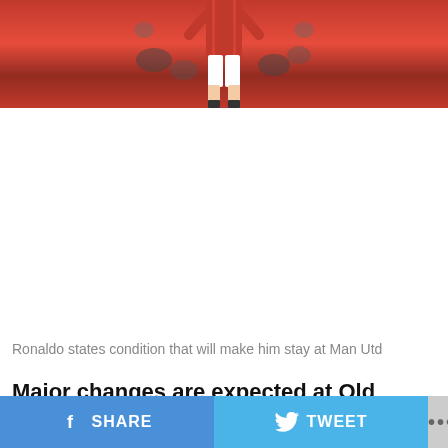[Figure (photo): A footballer in a red Manchester United jersey, photographed from the waist down, with crowd in the background]
Ronaldo states condition that will make him stay at Man Utd
Major changes are expected at Old Trafford this summer following a miserable season
SHARE   TWEET   ...